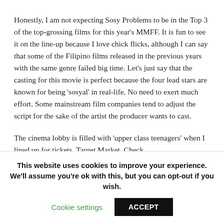Honestly, I am not expecting Sosy Problems to be in the Top 3 of the top-grossing films for this year's MMFF. It is fun to see it on the line-up because I love chick flicks, although I can say that some of the Filipino films released in the previous years with the same genre failed big time. Let's just say that the casting for this movie is perfect because the four lead stars are known for being 'sosyal' in real-life. No need to exert much effort. Some mainstream film companies tend to adjust the script for the sake of the artist the producer wants to cast.
The cinema lobby is filled with 'upper class teenagers' when I lined up for tickets. Target Market. Check.
This website uses cookies to improve your experience. We'll assume you're ok with this, but you can opt-out if you wish.
Cookie settings
ACCEPT